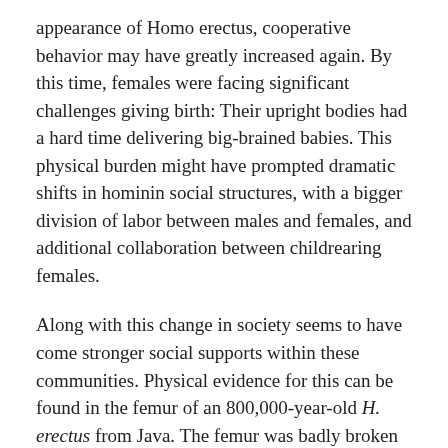appearance of Homo erectus, cooperative behavior may have greatly increased again. By this time, females were facing significant challenges giving birth: Their upright bodies had a hard time delivering big-brained babies. This physical burden might have prompted dramatic shifts in hominin social structures, with a bigger division of labor between males and females, and additional collaboration between childrearing females.
Along with this change in society seems to have come stronger social supports within these communities. Physical evidence for this can be found in the femur of an 800,000-year-old H. erectus from Java. The femur was badly broken—an injury that almost certainly means a quick death for someone trying to live alone. But, incredibly, this fracture healed. That means the injured hominin received an enormous amount of support from their social group. Our ancestors really took care of one